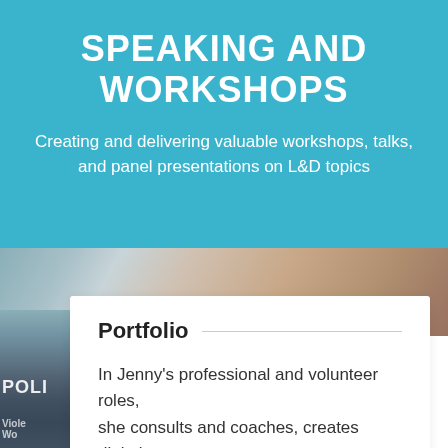SPEAKING AND WORKSHOPS
Creating and delivering valuable workshops, talks, and panel presentations on L&D topics
[Figure (photo): Close-up photo of documents/papers and hands, suggesting a workshop or presentation setting, with blue and brown tones]
Portfolio
In Jenny's professional and volunteer roles, she consults and coaches, creates digital and print assets, courses, workshops and